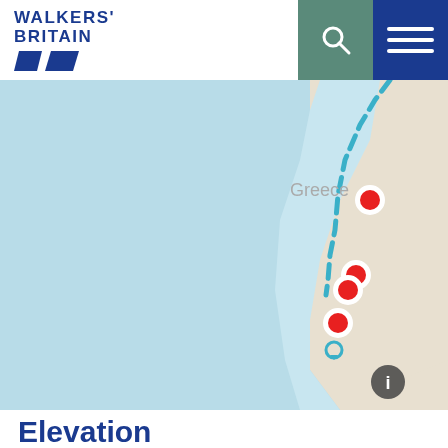[Figure (logo): Walkers Britain logo with blue text and shoe/boot icons]
[Figure (map): Map showing a coastal route near Greece with dashed blue path, red waypoint markers, blue sea area and beige land area]
Elevation
[Figure (other): Metric and Imperial toggle buttons]
[Figure (bar-chart): Elevation bar chart showing peaks around 1000m with blue (boat) and green (cycling) bars, y-axis labels 1000m and 500m]
boat
cycling
Ask an Expert